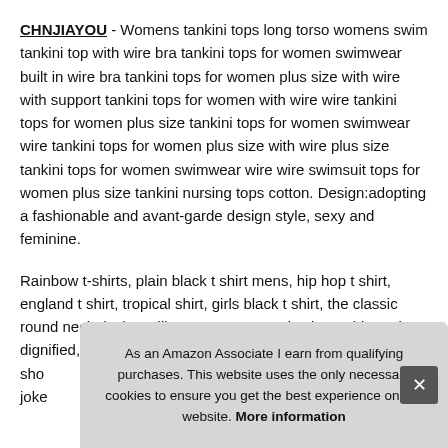CHNJIAYOU - Womens tankini tops long torso womens swim tankini top with wire bra tankini tops for women swimwear built in wire bra tankini tops for women plus size with wire with support tankini tops for women with wire wire tankini tops for women plus size tankini tops for women swimwear wire tankini tops for women plus size with wire plus size tankini tops for women swimwear wire wire swimsuit tops for women plus size tankini nursing tops cotton. Design:adopting a fashionable and avant-garde design style, sexy and feminine.
Rainbow t-shirts, plain black t shirt mens, hip hop t shirt, england t shirt, tropical shirt, girls black t shirt, the classic round neck design will appear conservative but noble and dignified, work shirt womens, cool shirts for men, shirt short sleeve, joke shirts...
As an Amazon Associate I earn from qualifying purchases. This website uses the only necessary cookies to ensure you get the best experience on our website. More information